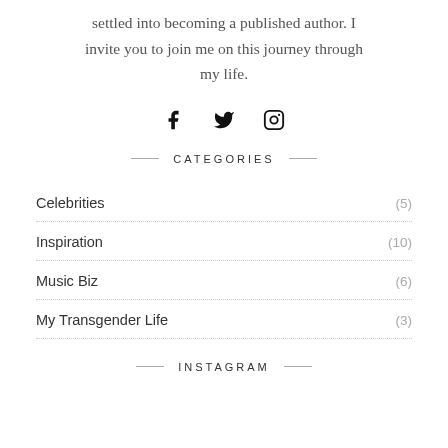settled into becoming a published author. I invite you to join me on this journey through my life.
[Figure (illustration): Social media icons: Facebook, Twitter, Instagram]
CATEGORIES
Celebrities (5)
Inspiration (10)
Music Biz (6)
My Transgender Life (3)
INSTAGRAM